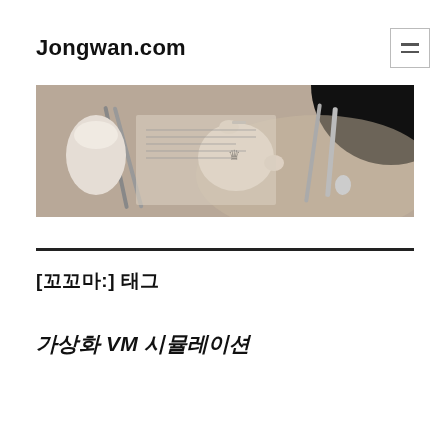Jongwan.com
[Figure (photo): A piggy bank with a crown symbol on a table with silverware (chopsticks, forks, spoons) and documents in a dark, moody tone.]
[꼬꼬마:] 태그
가상화 VM 시뮬레이션